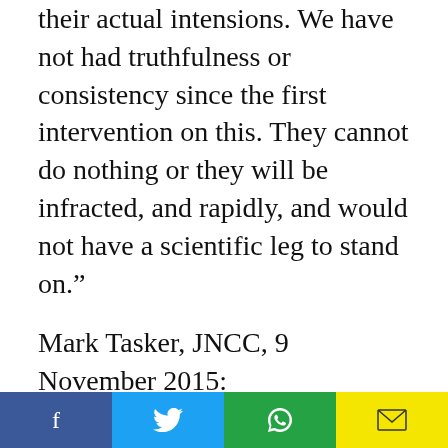their actual intensions. We have not had truthfulness or consistency since the first intervention on this. They cannot do nothing or they will be infracted, and rapidly, and would not have a scientific leg to stand on."
Mark Tasker, JNCC, 9 November 2015: “Marine Scotland are believing their own untruths/not full truths. I love the “better openness with stakeholders” in this – they have hardly talked to NGOs so far, and have told the renewables industry everything
[Figure (other): Social sharing bar with four buttons: Facebook (blue), Twitter (cyan), WhatsApp (green), Email (yellow)]